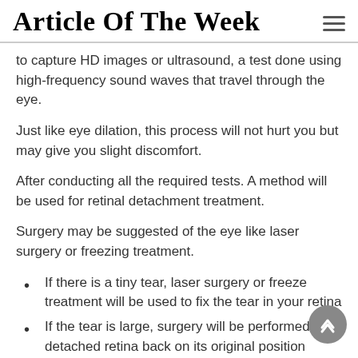Article Of The Week
to capture HD images or ultrasound, a test done using high-frequency sound waves that travel through the eye.
Just like eye dilation, this process will not hurt you but may give you slight discomfort.
After conducting all the required tests. A method will be used for retinal detachment treatment.
Surgery may be suggested of the eye like laser surgery or freezing treatment.
If there is a tiny tear, laser surgery or freeze treatment will be used to fix the tear in your retina
If the tear is large, surgery will be performed to detached retina back on its original position